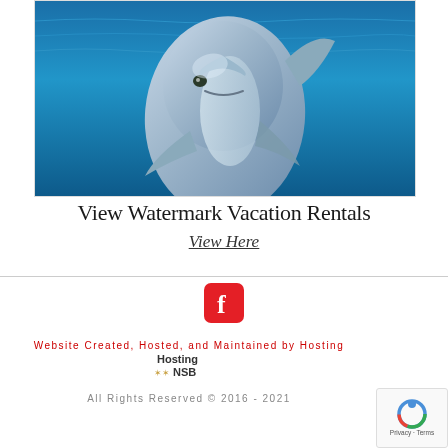[Figure (photo): Underwater photo of a dolphin facing the camera, set against a vivid blue ocean background]
View Watermark Vacation Rentals
View Here
[Figure (logo): Facebook logo icon — red rounded square with white f letter]
Website Created, Hosted, and Maintained by Hosting
[Figure (logo): Hosting NSB logo with starfish graphic]
All Rights Reserved © 2016 - 2021